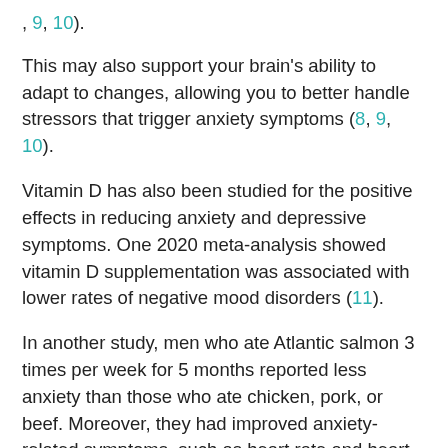, 9, 10).
This may also support your brain's ability to adapt to changes, allowing you to better handle stressors that trigger anxiety symptoms (8, 9, 10).
Vitamin D has also been studied for the positive effects in reducing anxiety and depressive symptoms. One 2020 meta-analysis showed vitamin D supplementation was associated with lower rates of negative mood disorders (11).
In another study, men who ate Atlantic salmon 3 times per week for 5 months reported less anxiety than those who ate chicken, pork, or beef. Moreover, they had improved anxiety-related symptoms, such as heart rate and heart rate variability (12).